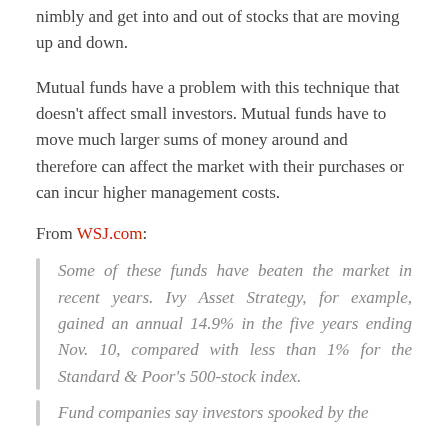nimbly and get into and out of stocks that are moving up and down.
Mutual funds have a problem with this technique that doesn't affect small investors. Mutual funds have to move much larger sums of money around and therefore can affect the market with their purchases or can incur higher management costs.
From WSJ.com:
Some of these funds have beaten the market in recent years. Ivy Asset Strategy, for example, gained an annual 14.9% in the five years ending Nov. 10, compared with less than 1% for the Standard & Poor's 500-stock index.
Fund companies say investors spooked by the